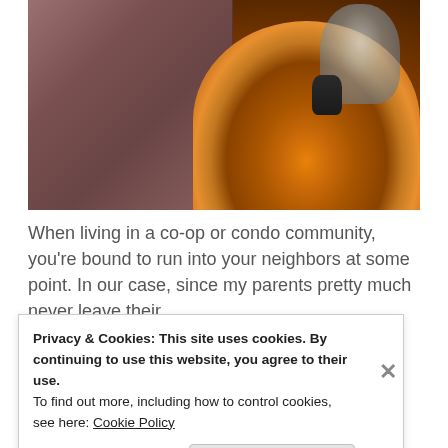[Figure (photo): A close-up photo of a mauve/dusty rose upholstered armchair next to a round wooden sunburst-pattern side table with a glass vase on top, on a beige carpet.]
When living in a co-op or condo community, you're bound to run into your neighbors at some point. In our case, since my parents pretty much never leave their
Privacy & Cookies: This site uses cookies. By continuing to use this website, you agree to their use.
To find out more, including how to control cookies, see here: Cookie Policy
Close and accept